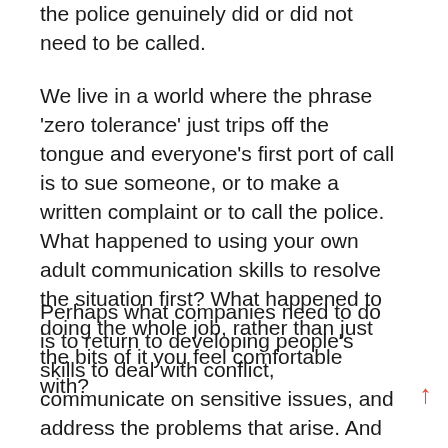the police genuinely did or did not need to be called.
We live in a world where the phrase 'zero tolerance' just trips off the tongue and everyone's first port of call is to sue someone, or to make a written complaint or to call the police. What happened to using your own adult communication skills to resolve the situation first? What happened to doing the whole job, rather than just the bits of it you feel comfortable with?
Perhaps what companies need to do is to return to developing people's skills to deal with conflict, communicate on sensitive issues, and address the problems that arise. And to make sure that staff know that the